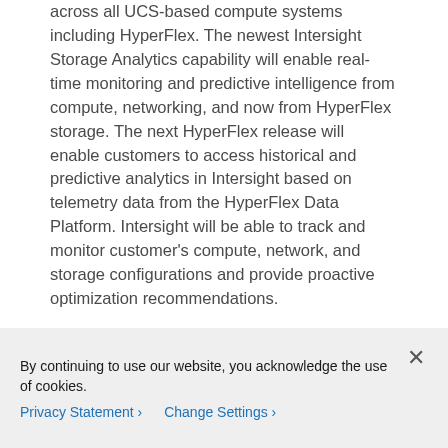across all UCS-based compute systems including HyperFlex. The newest Intersight Storage Analytics capability will enable real-time monitoring and predictive intelligence from compute, networking, and now from HyperFlex storage. The next HyperFlex release will enable customers to access historical and predictive analytics in Intersight based on telemetry data from the HyperFlex Data Platform. Intersight will be able to track and monitor customer's compute, network, and storage configurations and provide proactive optimization recommendations.
By continuing to use our website, you acknowledge the use of cookies.
Privacy Statement › Change Settings ›